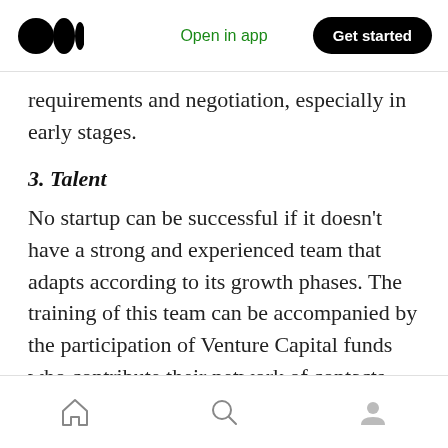Open in app | Get started
requirements and negotiation, especially in early stages.
3. Talent
No startup can be successful if it doesn't have a strong and experienced team that adapts according to its growth phases. The training of this team can be accompanied by the participation of Venture Capital funds who contribute their network of contacts with entrepreneurs and business executives.
Home | Search | Profile